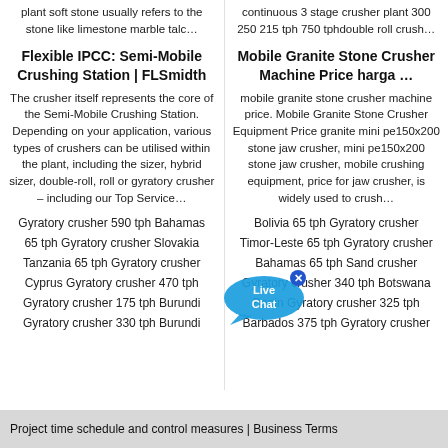plant soft stone usually refers to the stone like limestone marble talc…
continuous 3 stage crusher plant 300 250 215 tph 750 tphdouble roll crush…
Flexible IPCC: Semi-Mobile Crushing Station | FLSmidth
Mobile Granite Stone Crusher Machine Price harga …
The crusher itself represents the core of the Semi-Mobile Crushing Station. Depending on your application, various types of crushers can be utilised within the plant, including the sizer, hybrid sizer, double-roll, roll or gyratory crusher – including our Top Service…
mobile granite stone crusher machine price. Mobile Granite Stone Crusher Equipment Price granite mini pe150x200 stone jaw crusher, mini pe150x200 stone jaw crusher, mobile crushing equipment, price for jaw crusher, is widely used to crush…
Gyratory crusher 590 tph Bahamas
Bolivia 65 tph Gyratory crusher
65 tph Gyratory crusher Slovakia
Timor-Leste 65 tph Gyratory crusher
Tanzania 65 tph Gyratory crusher
Bahamas 65 tph Sand crusher
Cyprus Gyratory crusher 470 tph
Gyratory crusher 340 tph Botswana
Gyratory crusher 175 tph Burundi
Benin Gyratory crusher 325 tph
Gyratory crusher 330 tph Burundi
Barbados 375 tph Gyratory crusher
Project time schedule and control measures | Business Terms